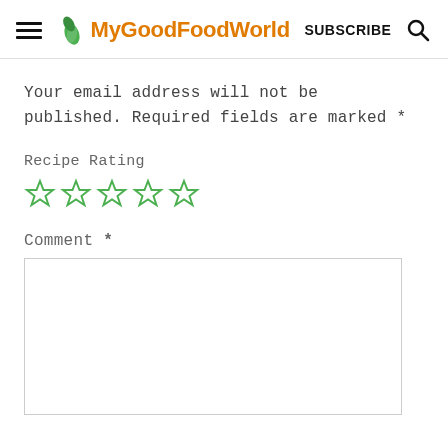MyGoodFoodWorld  SUBSCRIBE
Your email address will not be published. Required fields are marked *
Recipe Rating
[Figure (other): Five empty star rating icons in green outline style]
Comment *
[Figure (other): Empty comment text area input box]